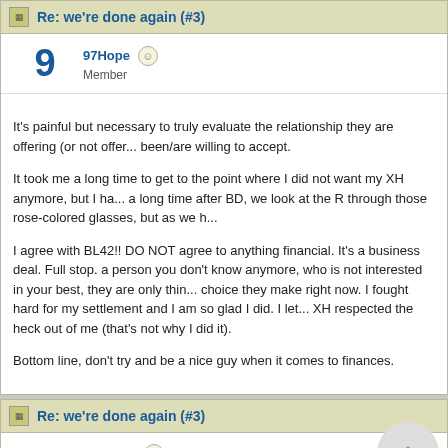Re: we're done again (#3)
97Hope Member
It's painful but necessary to truly evaluate the relationship they are offering (or not offering) to accept.

It took me a long time to get to the point where I did not want my XH anymore, but I had a long time after BD, we look at the R through those rose-colored glasses, but as we h...

I agree with BL42!! DO NOT agree to anything financial. It's a business deal. Full stop. a person you don't know anymore, who is not interested in your best, they are only thin... choice they make right now. I fought hard for my settlement and I am so glad I did. I let... XH respected the heck out of me (that's not why I did it).

Bottom line, don't try and be a nice guy when it comes to finances.
Re: we're done again (#3)
wayfarer Member